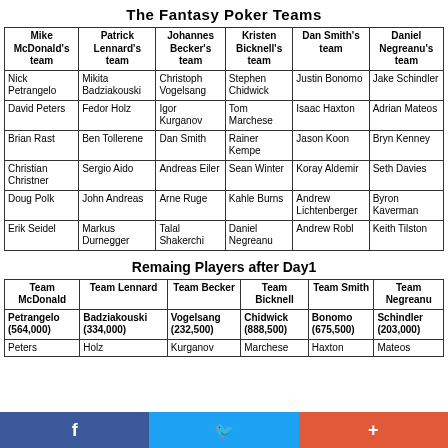The Fantasy Poker Teams
| Mike McDonald's team | Patrick Lennard's team | Johannes Becker's team | Kristen Bicknell's team | Dan Smith's team | Daniel Negreanu's team |
| --- | --- | --- | --- | --- | --- |
| Nick Petrangelo | Mikita Badziakouski | Christoph Vogelsang | Stephen Chidwick | Justin Bonomo | Jake Schindler |
| David Peters | Fedor Holz | Igor Kurganov | Tom Marchese | Isaac Haxton | Adrian Mateos |
| Brian Rast | Ben Tollerene | Dan Smith | Rainer Kempe | Jason Koon | Bryn Kenney |
| Christian Christner | Sergio Aido | Andreas Eiler | Sean Winter | Koray Aldemir | Seth Davies |
| Doug Polk | John Andreas | Arne Ruge | Kahle Burns | Andrew Lichtenberger | Byron Kaverman |
| Erik Seidel | Markus Durnegger | Talal Shakerchi | Daniel Negreanu | Andrew Robl | Keith Tilston |
Remaing Players after Day1
| Team McDonald | Team Lennard | Team Becker | Team Bicknell | Team Smith | Team Negreanu |
| --- | --- | --- | --- | --- | --- |
| Petrangelo (564,000) | Badziakouski (334,000) | Vogelsang (232,500) | Chidwick (888,500) | Bonomo (675,500) | Schindler (203,000) |
| Peters | Holz | Kurganov | Marchese | Haxton | Mateos |